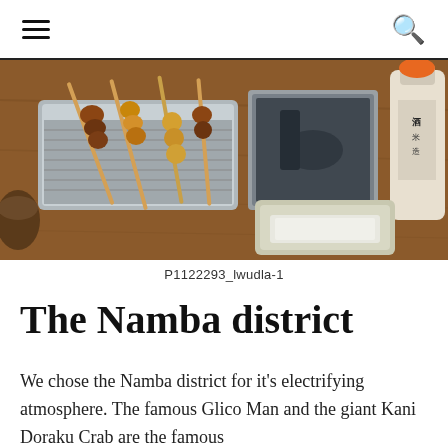hamburger menu | search icon
[Figure (photo): Photo of Japanese yakitori skewers on a metal tray resting on a wooden surface, with metal containers and a sake bottle in the background.]
P1122293_lwudla-1
The Namba district
We chose the Namba district for it's electrifying atmosphere. The famous Glico Man and the giant Kani Doraku Crab are the famous landmarks. You can eat at